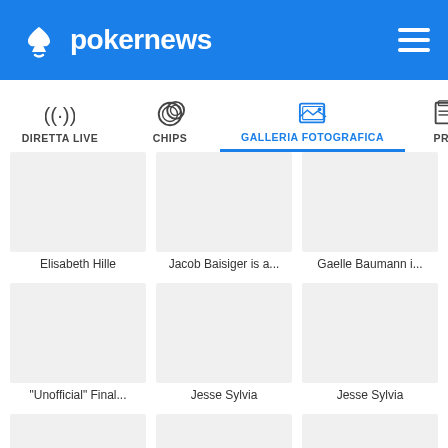pokernews
DIRETTA LIVE
CHIPS
GALLERIA FOTOGRAFICA
PRE
[Figure (screenshot): Gallery grid of poker photos: Elisabeth Hille, Jacob Baisiger is a..., Gaelle Baumann i..., "Unofficial" Final..., Jesse Sylvia, Jesse Sylvia, Gaelle Baumann, Gaelle Baumann, 2012 World Seri...]
Elisabeth Hille
Jacob Baisiger is a...
Gaelle Baumann i...
"Unofficial" Final...
Jesse Sylvia
Jesse Sylvia
Gaelle Baumann
Gaelle Baumann
2012 World Seri...